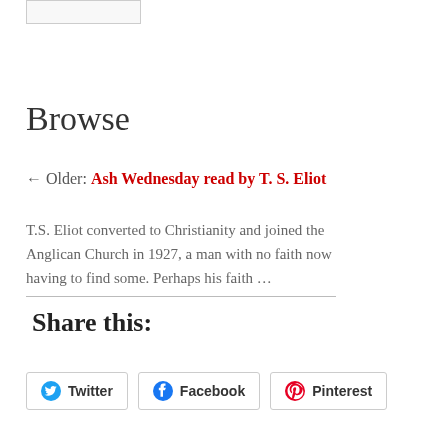[Figure (other): Partial image/widget at the top of the page, clipped]
Browse
← Older: Ash Wednesday read by T. S. Eliot
T.S. Eliot converted to Christianity and joined the Anglican Church in 1927, a man with no faith now having to find some. Perhaps his faith …
Share this:
Twitter
Facebook
Pinterest